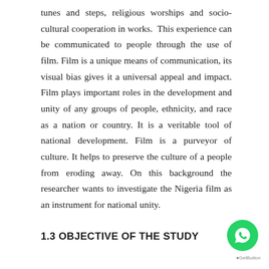tunes and steps, religious worships and socio-cultural cooperation in works.  This experience can be communicated to people through the use of film. Film is a unique means of communication, its visual bias gives it a universal appeal and impact. Film plays important roles in the development and unity of any groups of people, ethnicity, and race as a nation or country. It is a veritable tool of national development. Film is a purveyor of culture. It helps to preserve the culture of a people from eroding away. On this background the researcher wants to investigate the Nigeria film as an instrument for national unity.
1.3 OBJECTIVE OF THE STUDY